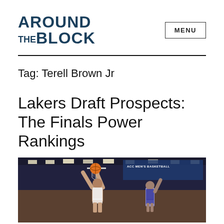AROUND THE BLOCK  MENU
Tag: Terell Brown Jr
Lakers Draft Prospects: The Finals Power Rankings
[Figure (photo): Basketball player dunking through the hoop in a basketball arena with ACC Men's Basketball banner visible in the background]